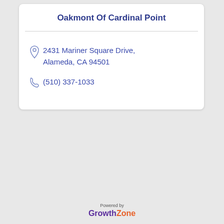Oakmont Of Cardinal Point
2431 Mariner Square Drive, Alameda, CA 94501
(510) 337-1033
[Figure (logo): GrowthZone logo with 'Powered by' text above it. 'Growth' in purple bold and 'Zone' in orange bold.]